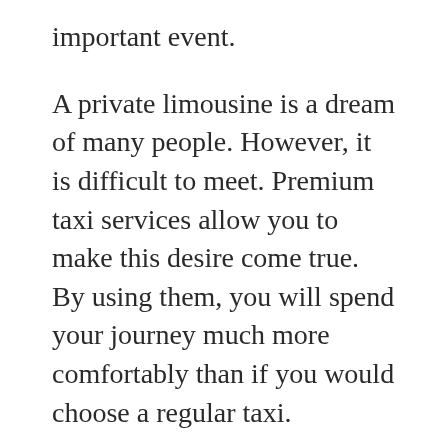important event.
A private limousine is a dream of many people. However, it is difficult to meet. Premium taxi services allow you to make this desire come true. By using them, you will spend your journey much more comfortably than if you would choose a regular taxi.
Naturally, a ride in a luxury limousine will be more expensive than a regular chassis, but it is a good option for people who value comfort and pleasure from the trip above all.